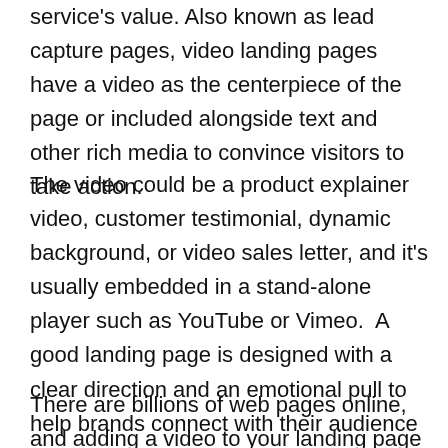service's value. Also known as lead capture pages, video landing pages have a video as the centerpiece of the page or included alongside text and other rich media to convince visitors to take action.
The video could be a product explainer video, customer testimonial, dynamic background, or video sales letter, and it's usually embedded in a stand-alone player such as YouTube or Vimeo.  A good landing page is designed with a clear direction and an emotional pull to help brands connect with their audience and get their message across better.
There are billions of web pages online, and adding a video to your landing page is an effective way to stand out from all the noise. Video packs an